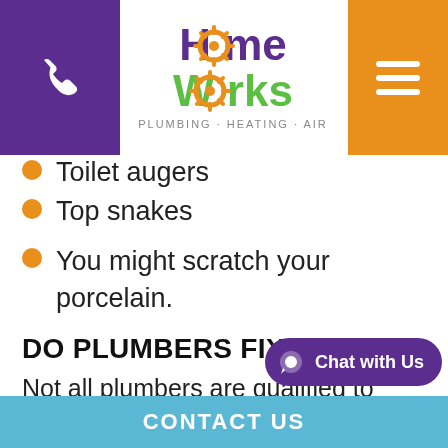[Figure (logo): HomeWorks Plumbing Heating Air logo with purple 'Home' text, green 'Works' text and orange gear icon]
Toilet augers
Top snakes
You might scratch your porcelain.
DO PLUMBERS FIX DRAINS?
Not all plumbers are qualified to work on drains. And not all companies have the spe equipment needed to replace or
CONTACT US